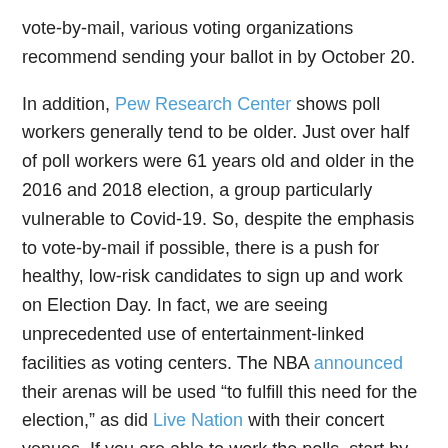vote-by-mail, various voting organizations recommend sending your ballot in by October 20.
In addition, Pew Research Center shows poll workers generally tend to be older. Just over half of poll workers were 61 years old and older in the 2016 and 2018 election, a group particularly vulnerable to Covid-19. So, despite the emphasis to vote-by-mail if possible, there is a push for healthy, low-risk candidates to sign up and work on Election Day. In fact, we are seeing unprecedented use of entertainment-linked facilities as voting centers. The NBA announced their arenas will be used “to fulfill this need for the election,” as did Live Nation with their concert venues. If you are able to work the polls, start by learning more here (and yes, you get paid).
Let’s back things up a bit. What if you need to register to